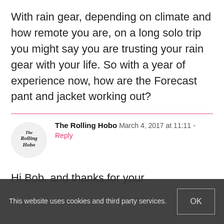With rain gear, depending on climate and how remote you are, on a long solo trip you might say you are trusting your rain gear with your life. So with a year of experience now, how are the Forecast pant and jacket working out?
The Rolling Hobo  March 4, 2017 at 11:11 - Reply
Hi Bob, and thanks for your
This website uses cookies and third party services.